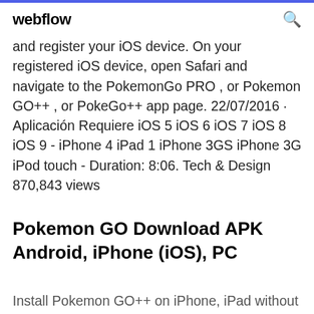webflow
and register your iOS device. On your registered iOS device, open Safari and navigate to the PokemonGo PRO , or Pokemon GO++ , or PokeGo++ app page. 22/07/2016 · Aplicación Requiere iOS 5 iOS 6 iOS 7 iOS 8 iOS 9 - iPhone 4 iPad 1 iPhone 3GS iPhone 3G iPod touch - Duration: 8:06. Tech & Design 870,843 views
Pokemon GO Download APK Android, iPhone (iOS), PC
Install Pokemon GO++ on iPhone, iPad without